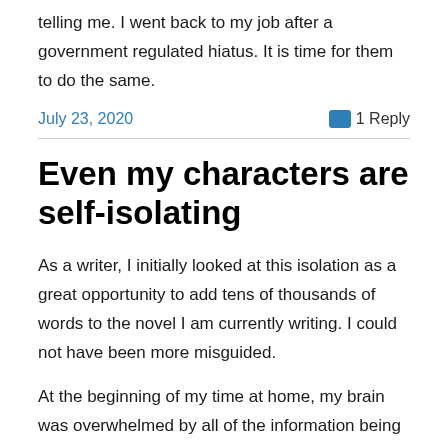telling me. I went back to my job after a government regulated hiatus. It is time for them to do the same.
July 23, 2020    💬 1 Reply
Even my characters are self-isolating
As a writer, I initially looked at this isolation as a great opportunity to add tens of thousands of words to the novel I am currently writing. I could not have been more misguided.
At the beginning of my time at home, my brain was overwhelmed by all of the information being shared on social media about Covid-19. I couldn't open Twitter or